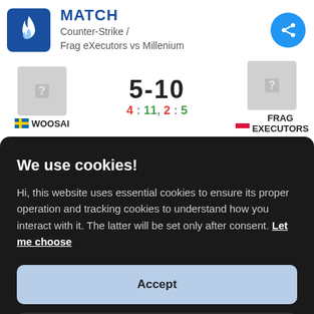MATCH
Counter-Strike / Frag eXecutors vs Millenium
5-10  |  4:11, 2:5  |  WOOSAI  vs  FRAG EXECUTORS
We use cookies!
Hi, this website uses essential cookies to ensure its proper operation and tracking cookies to understand how you interact with it. The latter will be set only after consent. Let me choose
Accept
Reject